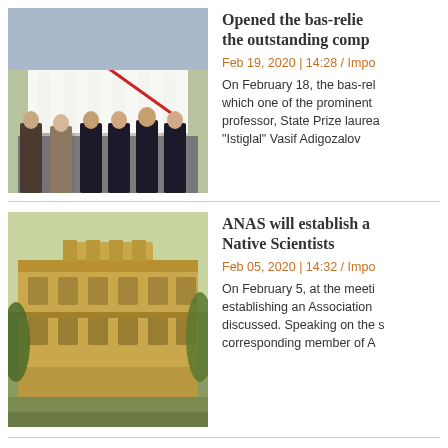[Figure (photo): Group of men in dark suits standing in front of a building with a white banner/cloth draped over something being unveiled]
Opened the bas-relief the outstanding comp
Feb 19, 2020 | 14:28 / Impo
On February 18, the bas-rel which one of the prominent professor, State Prize laurea "Istiglal" Vasif Adigozalov
[Figure (photo): Historic ornate building with yellow stone facade, trees visible to the right]
ANAS will establish a Native Scientists
Feb 05, 2020 | 14:32 / Impo
On February 5, at the meeti establishing an Association discussed. Speaking on the corresponding member of A